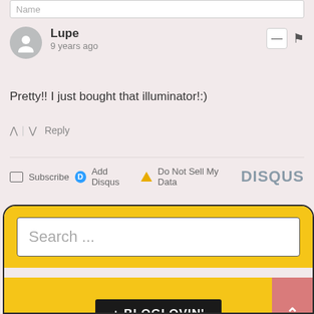Name
Lupe
9 years ago
Pretty!! I just bought that illuminator!:)
^ | v  Reply
Subscribe  Add Disqus  Do Not Sell My Data  DISQUS
Search ...
[Figure (logo): + BLOGLOVIN' button logo on yellow background with back-to-top arrow button]
+ BLOGLOVIN'